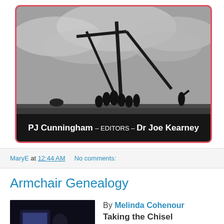[Figure (photo): Book cover with red border. Black and white photograph of silhouetted workers erecting a telegraph pole in a field under a cloudy sky. Text at bottom reads: PJ Cunningham – EDITORS – Dr Joe Kearney]
MaryE at 12:44 AM    No comments:
Armchair Genealogy
[Figure (photo): Dark thumbnail image of person at computer screen]
By Melinda Cohenour
Taking the Chisel